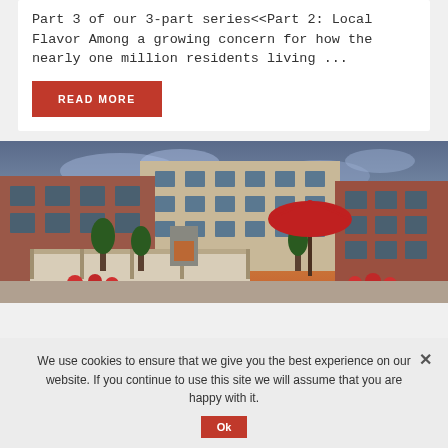Part 3 of our 3-part series<<Part 2: Local Flavor Among a growing concern for how the nearly one million residents living ...
READ MORE
[Figure (photo): Exterior photo of a multi-story brick apartment or mixed-use building at sunset/dusk with a stone outdoor fireplace, pergola, red patio umbrella, and trees in the foreground.]
We use cookies to ensure that we give you the best experience on our website. If you continue to use this site we will assume that you are happy with it.
Ok